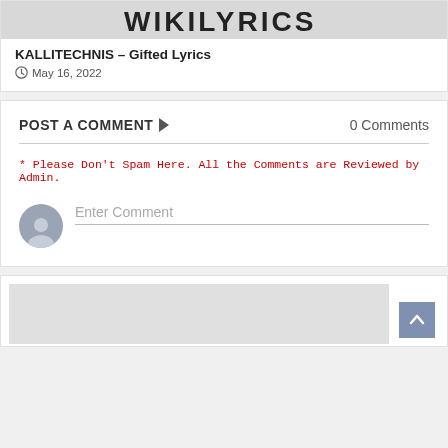[Figure (screenshot): WikiLyrics logo banner in dark gray background with bold uppercase text 'WIKILYRICS']
KALLITECHNIS – Gifted Lyrics
May 16, 2022
POST A COMMENT
0 Comments
* Please Don't Spam Here. All the Comments are Reviewed by Admin.
Enter Comment
[Figure (screenshot): Partial bottom card with gray image area and blue back-to-top arrow button]